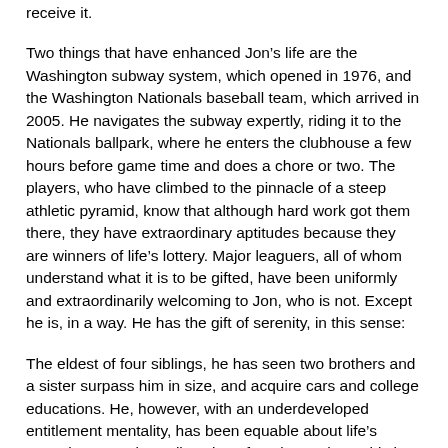receive it.
Two things that have enhanced Jon’s life are the Washington subway system, which opened in 1976, and the Washington Nationals baseball team, which arrived in 2005. He navigates the subway expertly, riding it to the Nationals ballpark, where he enters the clubhouse a few hours before game time and does a chore or two. The players, who have climbed to the pinnacle of a steep athletic pyramid, know that although hard work got them there, they have extraordinary aptitudes because they are winners of life’s lottery. Major leaguers, all of whom understand what it is to be gifted, have been uniformly and extraordinarily welcoming to Jon, who is not. Except he is, in a way. He has the gift of serenity, in this sense:
The eldest of four siblings, he has seen two brothers and a sister surpass him in size, and acquire cars and college educations. He, however, with an underdeveloped entitlement mentality, has been equable about life’s sometimes careless allocation of equity. Perhaps this is partly because, given the nature of Down syndrome, neither